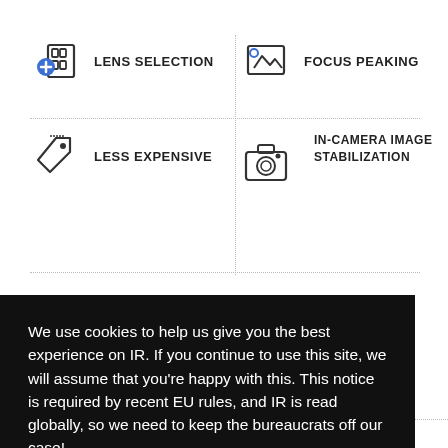[Figure (illustration): Icon of film roll/lens with blue plus sign, labeled LENS SELECTION]
LENS SELECTION
[Figure (illustration): Icon of image/picture frame with mountain and sun, labeled FOCUS PEAKING]
FOCUS PEAKING
[Figure (illustration): Icon of price tag, labeled LESS EXPENSIVE]
LESS EXPENSIVE
[Figure (illustration): Icon of camera body, labeled IN-CAMERA IMAGE STABILIZATION]
IN-CAMERA IMAGE STABILIZATION
We use cookies to help us give you the best experience on IR. If you continue to use this site, we will assume that you're happy with this. This notice is required by recent EU rules, and IR is read globally, so we need to keep the bureaucrats off our case!
Learn more
Got it!